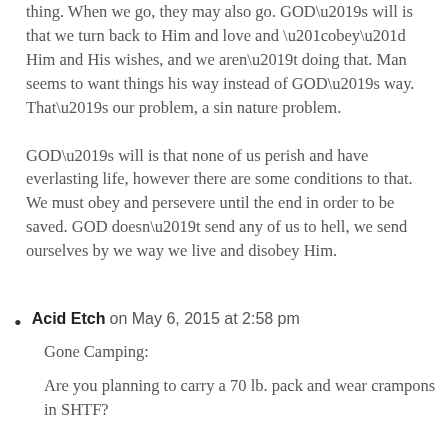thing. When we go, they may also go. GOD’s will is that we turn back to Him and love and “obey” Him and His wishes, and we aren’t doing that. Man seems to want things his way instead of GOD’s way. That’s our problem, a sin nature problem. GOD’s will is that none of us perish and have everlasting life, however there are some conditions to that. We must obey and persevere until the end in order to be saved. GOD doesn’t send any of us to hell, we send ourselves by we way we live and disobey Him.
Acid Etch on May 6, 2015 at 2:58 pm

Gone Camping:

Are you planning to carry a 70 lb. pack and wear crampons in SHTF?